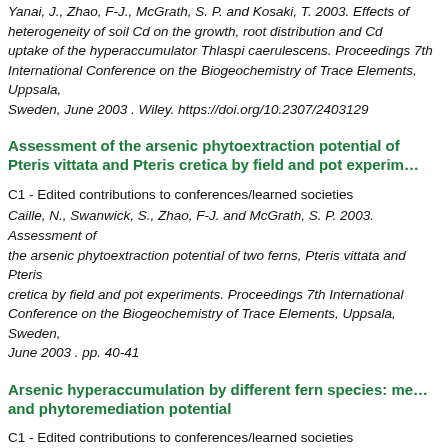Yanai, J., Zhao, F-J., McGrath, S. P. and Kosaki, T. 2003. Effects of heterogeneity of soil Cd on the growth, root distribution and Cd uptake of the hyperaccumulator Thlaspi caerulescens. Proceedings 7th International Conference on the Biogeochemistry of Trace Elements, Uppsala, Sweden, June 2003 . Wiley. https://doi.org/10.2307/2403129
Assessment of the arsenic phytoextraction potential of Pteris vittata and Pteris cretica by field and pot experiments
C1 - Edited contributions to conferences/learned societies
Caille, N., Swanwick, S., Zhao, F-J. and McGrath, S. P. 2003. Assessment of the arsenic phytoextraction potential of two ferns, Pteris vittata and Pteris cretica by field and pot experiments. Proceedings 7th International Conference on the Biogeochemistry of Trace Elements, Uppsala, Sweden, June 2003 . pp. 40-41
Arsenic hyperaccumulation by different fern species: mechanisms and phytoremediation potential
C1 - Edited contributions to conferences/learned societies
Zhao, F-J., Dunham, S. J., Wang, J. R. and McGrath, S. P. 2003. Arsenic hyperaccumulation by different fern species: mechanisms and...